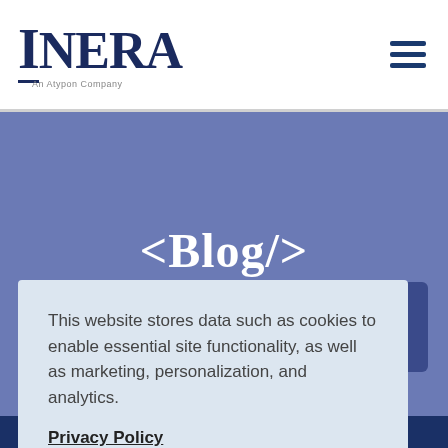Inera — An Atypon Company
<Blog/>
Inera in context
This website stores data such as cookies to enable essential site functionality, as well as marketing, personalization, and analytics.
Privacy Policy
Accept
Deny